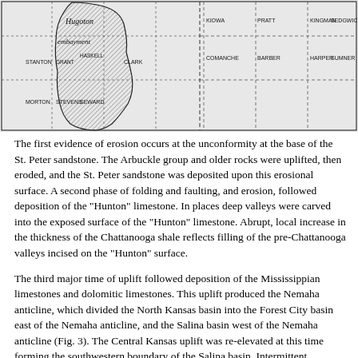[Figure (map): Partial map of Kansas showing the Hugoton embayment (shaded region) and surrounding counties including Stanton, Grant, Haskell, Stevens, Seward, Clark, Comanche, Pratt, Kiowa, Barber, Harper, Kingman, Sumner, and Sedgwick. Dashed lines indicate county or structural boundaries.]
The first evidence of erosion occurs at the unconformity at the base of the St. Peter sandstone. The Arbuckle group and older rocks were uplifted, then eroded, and the St. Peter sandstone was deposited upon this erosional surface. A second phase of folding and faulting, and erosion, followed deposition of the "Hunton" limestone. In places deep valleys were carved into the exposed surface of the "Hunton" limestone. Abrupt, local increase in the thickness of the Chattanooga shale reflects filling of the pre-Chattanooga valleys incised on the "Hunton" surface.
The third major time of uplift followed deposition of the Mississippian limestones and dolomitic limestones. This uplift produced the Nemaha anticline, which divided the North Kansas basin into the Forest City basin east of the Nemaha anticline, and the Salina basin west of the Nemaha anticline (Fig. 3). The Central Kansas uplift was re-elevated at this time forming the southwestern boundary of the Salina basin. Intermittent movement through Pennsylvanian and Permian time created numerous unconformities